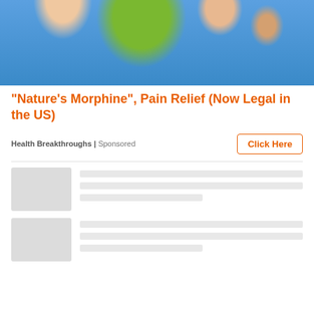[Figure (photo): Close-up photo of a hand holding a green gummy candy shaped like a bear or figure, against a blue background]
"Nature's Morphine", Pain Relief (Now Legal in the US)
Health Breakthroughs | Sponsored
[Figure (other): Loading placeholder cards with grey thumbnail boxes and grey skeleton lines representing loading content]
[Figure (other): Second loading placeholder card with grey thumbnail box and grey skeleton lines]